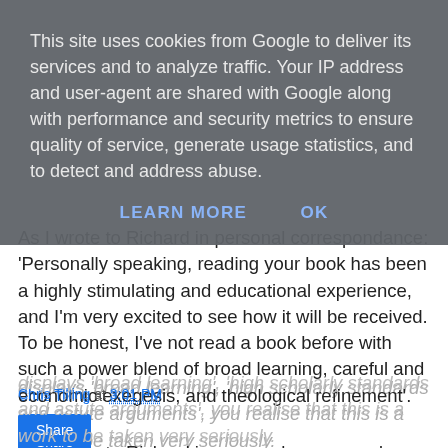This site uses cookies from Google to deliver its services and to analyze traffic. Your IP address and user-agent are shared with Google along with performance and security metrics to ensure quality of service, generate usage statistics, and to detect and address abuse.
LEARN MORE   OK
displays 'broad learning', 'high scholarly standards and astute arguments', you realise that this is a work to be taken very seriously.
As I wrote to Richard in personal correspondance: 'Personally speaking, reading your book has been a highly stimulating and educational experience, and I'm very excited to see how it will be received. To be honest, I've not read a book before with such a power blend of broad learning, careful and economic exegesis, and theological refinement'.
Chris Tilling at 3:01 PM
Share